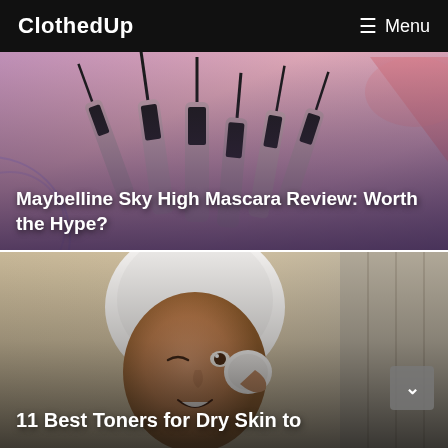ClothedUp  Menu
[Figure (photo): Multiple Maybelline Sky High mascaras arranged upright against a pink/purple gradient background with geometric shapes]
Maybelline Sky High Mascara Review: Worth the Hype?
[Figure (photo): Young woman with towel wrapped around her head, smiling and applying skincare with a cotton pad against a light background]
11 Best Toners for Dry Skin to